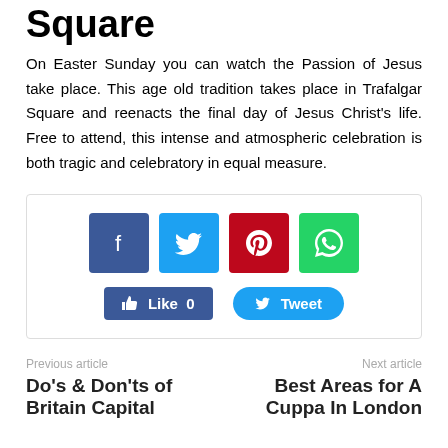Square
On Easter Sunday you can watch the Passion of Jesus take place. This age old tradition takes place in Trafalgar Square and reenacts the final day of Jesus Christ's life. Free to attend, this intense and atmospheric celebration is both tragic and celebratory in equal measure.
[Figure (screenshot): Social sharing widget with Facebook, Twitter, Pinterest, and WhatsApp icon buttons, plus a Like 0 button and a Tweet button.]
Previous article
Do's & Don'ts of Britain Capital
Next article
Best Areas for A Cuppa In London